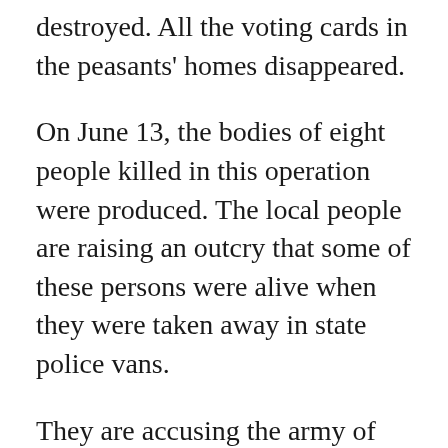destroyed. All the voting cards in the peasants' homes disappeared.
On June 13, the bodies of eight people killed in this operation were produced. The local people are raising an outcry that some of these persons were alive when they were taken away in state police vans.
They are accusing the army of murdering them in cold blood. The bodies produced were in a state of decomposition and had been mutilated.
According to expectations of the Mexican government, the movement for indigenous